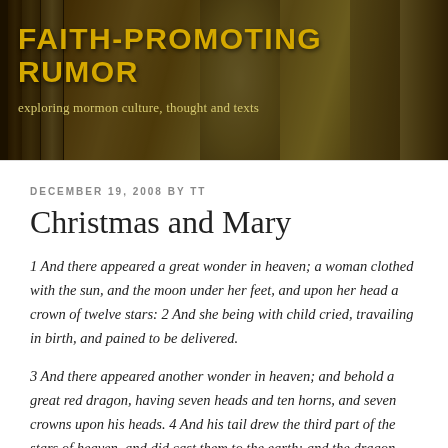[Figure (photo): Header banner with books in background, golden/amber tones. Blog header image for Faith-Promoting Rumor.]
FAITH-PROMOTING RUMOR
exploring mormon culture, thought and texts
DECEMBER 19, 2008 BY TT
Christmas and Mary
1 And there appeared a great wonder in heaven; a woman clothed with the sun, and the moon under her feet, and upon her head a crown of twelve stars: 2 And she being with child cried, travailing in birth, and pained to be delivered.
3 And there appeared another wonder in heaven; and behold a great red dragon, having seven heads and ten horns, and seven crowns upon his heads. 4 And his tail drew the third part of the stars of heaven, and did cast them to the earth: and the dragon stood before the woman...